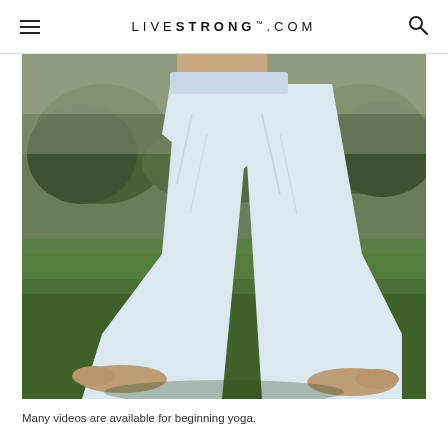LIVESTRONG.COM
[Figure (photo): Person wearing white yoga pants doing a wide-legged yoga stance on green grass with trees and hills in background]
Many videos are available for beginning yoga.